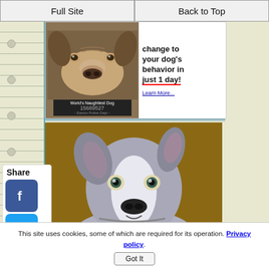Full Site | Back to Top
[Figure (photo): Advertisement showing a dog face with text 'change to your dog's behavior in just 1 day!' and Learn More link]
[Figure (photo): Gray and white pit bull puppy looking up at camera]
[Figure (photo): Brown and white dog close-up photo]
Share
This site uses cookies, some of which are required for its operation. Privacy policy
Got It